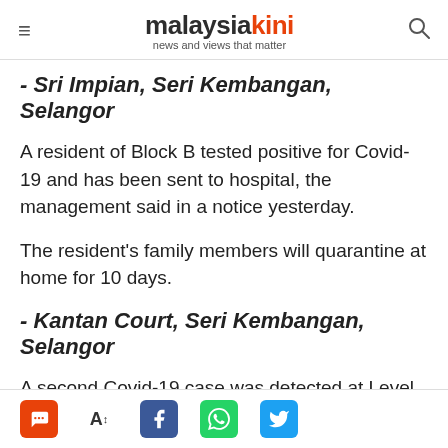malaysiakini — news and views that matter
- Sri Impian, Seri Kembangan, Selangor
A resident of Block B tested positive for Covid-19 and has been sent to hospital, the management said in a notice yesterday.
The resident's family members will quarantine at home for 10 days.
- Kantan Court, Seri Kembangan, Selangor
A second Covid-19 case was detected at Level 12 of Block B1 here on Jan 11, the
Social share icons: chat, font, Facebook, WhatsApp, Twitter